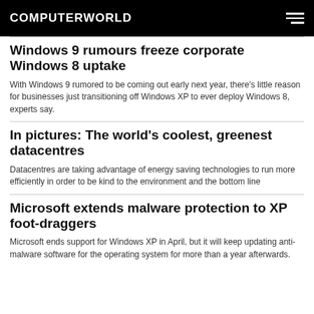COMPUTERWORLD
Windows 9 rumours freeze corporate Windows 8 uptake
With Windows 9 rumored to be coming out early next year, there's little reason for businesses just transitioning off Windows XP to ever deploy Windows 8, experts say.
In pictures: The world's coolest, greenest datacentres
Datacentres are taking advantage of energy saving technologies to run more efficiently in order to be kind to the environment and the bottom line
Microsoft extends malware protection to XP foot-draggers
Microsoft ends support for Windows XP in April, but it will keep updating anti-malware software for the operating system for more than a year afterwards.